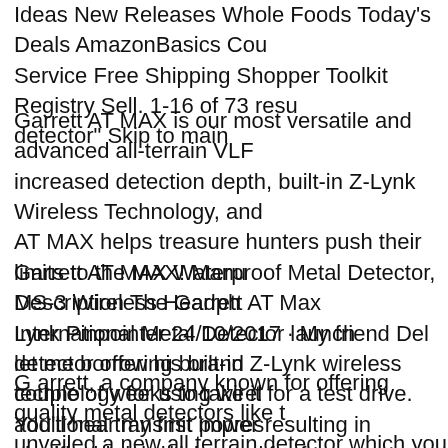Ideas New Releases Whole Foods Today's Deals AmazonBasics Cou Service Free Shipping Shopper Toolkit Registry Sell. 1-16 of 73 resu detector" Skip to main
Garrett AT MAX is our most versatile and advanced all-terrain VLF increased detection depth, built-in Z-Lynk Wireless Technology, and AT MAX helps treasure hunters push their limits to the MAX! Manu Description The Garrett AT Max International Metal Detector launch detector offering built-in Z-Lynk wireless technology for using wirel additional transmit power resulting in significant depth increase for f
Garrett AT MAX Waterproof Metal Detector, MS-3 Wireless Headph Lynk Pinpointer 24/10/2017 · My friend Del let me borrow his brand couple of weeks to take it for a test drive. You'll hear my first impres weeks video includes a nice
G arrett, a company known for offering quality metal detectors like t unveiled a new all terrain detector which you can now purchase. If ye Pro and AT Gold, you'll want to check out this detector! The new Ga